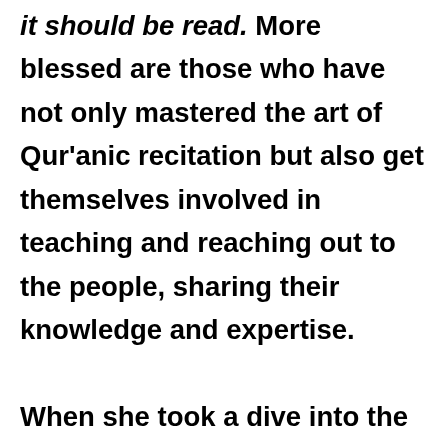it should be read. More blessed are those who have not only mastered the art of Qur'anic recitation but also get themselves involved in teaching and reaching out to the people, sharing their knowledge and expertise. When she took a dive into the sea of Tajweed, Sr. Fatimah realised that this 'sea' is actually an 'ocean'. Through